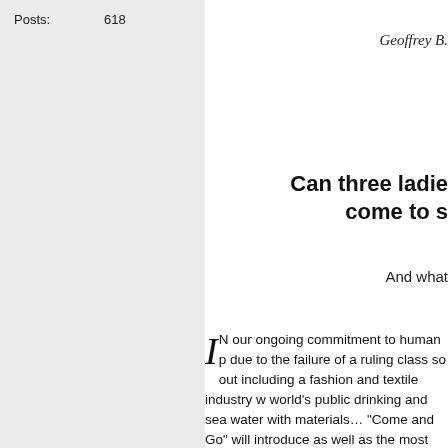Posts:    618
Geoffrey B.
Can three ladie come to s
And what
IN our ongoing commitment to human p due to the failure of a ruling class so out including a fashion and textile industry w world's public drinking and sea water with materials… "Come and Go" will introduce as well as the most advanced extreme ha Spalato workrooms at Cavarzere Venezia Beckett directed by Brad C. Sisk starring revolutionarily human, emotional and tou can be there.